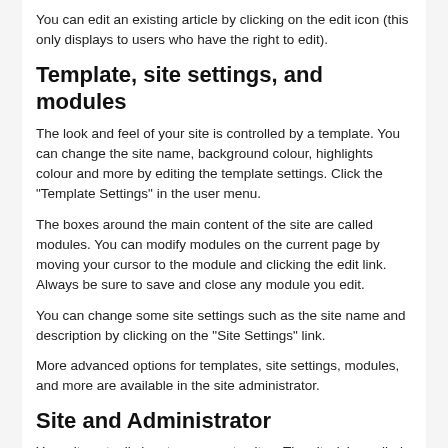You can edit an existing article by clicking on the edit icon (this only displays to users who have the right to edit).
Template, site settings, and modules
The look and feel of your site is controlled by a template. You can change the site name, background colour, highlights colour and more by editing the template settings. Click the "Template Settings" in the user menu.
The boxes around the main content of the site are called modules. You can modify modules on the current page by moving your cursor to the module and clicking the edit link. Always be sure to save and close any module you edit.
You can change some site settings such as the site name and description by clicking on the "Site Settings" link.
More advanced options for templates, site settings, modules, and more are available in the site administrator.
Site and Administrator
Your site actually has two separate sites. The site (also called the front end) is what visitors to your site will see. The administrator (also called the back end) is only used by people managing your site. You can access the administrator by clicking the "Site Administrator" link on the "User Menu" menu